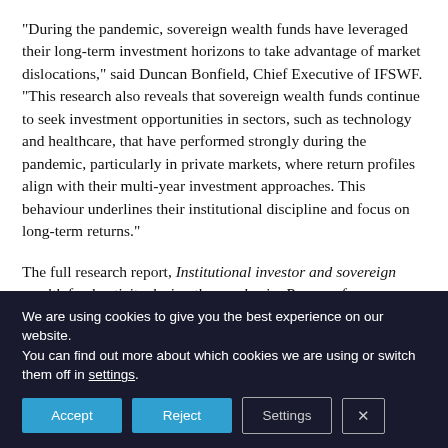“During the pandemic, sovereign wealth funds have leveraged their long-term investment horizons to take advantage of market dislocations,” said Duncan Bonfield, Chief Executive of IFSWF. “This research also reveals that sovereign wealth funds continue to seek investment opportunities in sectors, such as technology and healthcare, that have performed strongly during the pandemic, particularly in private markets, where return profiles align with their multi-year investment approaches. This behaviour underlines their institutional discipline and focus on long-term returns.”
The full research report, Institutional investor and sovereign wealth fund activity during the pandemic: Reasons for optimism? is available here.
We are using cookies to give you the best experience on our website.
You can find out more about which cookies we are using or switch them off in settings.